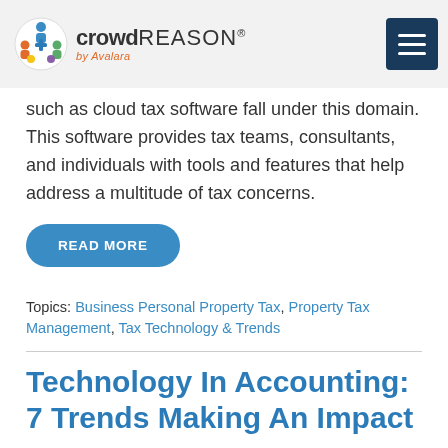crowdREASON® by Avalara
such as cloud tax software fall under this domain. This software provides tax teams, consultants, and individuals with tools and features that help address a multitude of tax concerns.
READ MORE
Topics: Business Personal Property Tax, Property Tax Management, Tax Technology & Trends
Technology In Accounting: 7 Trends Making An Impact